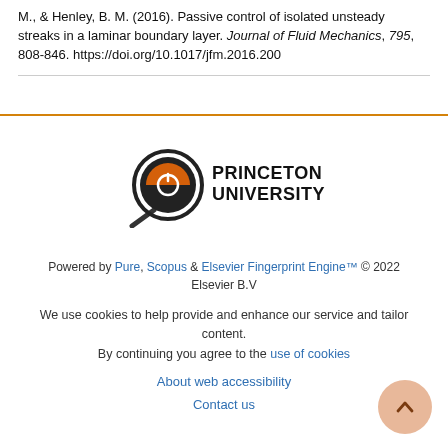M., & Henley, B. M. (2016). Passive control of isolated unsteady streaks in a laminar boundary layer. Journal of Fluid Mechanics, 795, 808-846. https://doi.org/10.1017/jfm.2016.200
[Figure (logo): Princeton University logo with magnifying glass icon and text PRINCETON UNIVERSITY]
Powered by Pure, Scopus & Elsevier Fingerprint Engine™ © 2022 Elsevier B.V
We use cookies to help provide and enhance our service and tailor content. By continuing you agree to the use of cookies
About web accessibility
Contact us